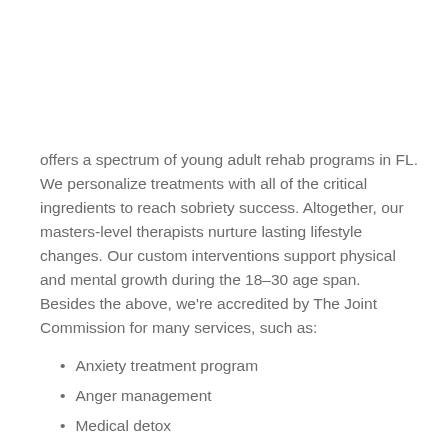offers a spectrum of young adult rehab programs in FL. We personalize treatments with all of the critical ingredients to reach sobriety success. Altogether, our masters-level therapists nurture lasting lifestyle changes. Our custom interventions support physical and mental growth during the 18–30 age span. Besides the above, we're accredited by The Joint Commission for many services, such as:
Anxiety treatment program
Anger management
Medical detox
Mindfulness-based treatment
Bowling therapy
Sober living network